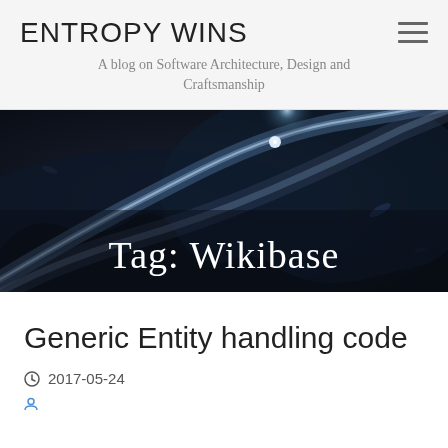ENTROPY WINS
A blog on Software Architecture, Design and Craftsmanship
[Figure (photo): Dark space/nebula background image with light streaks and a bright star, overlaid with 'Tag: Wikibase' text]
Generic Entity handling code
2017-05-24